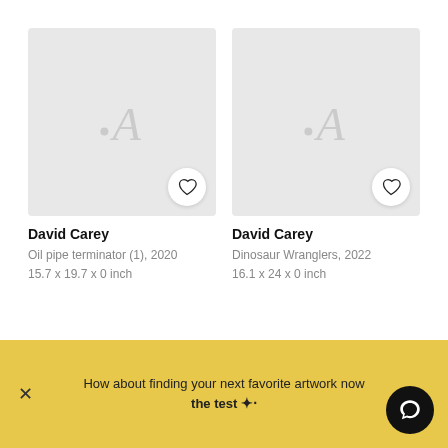[Figure (screenshot): Art marketplace screenshot showing two artwork cards with placeholder images and artist info, plus a promotional banner at the bottom.]
David Carey
Oil pipe terminator (1), 2020
15.7 x 19.7 x 0 inch
David Carey
Dinosaur Wranglers, 2022
16.1 x 24 x 0 inch
How about finding your next favorite artwork now the test ✦